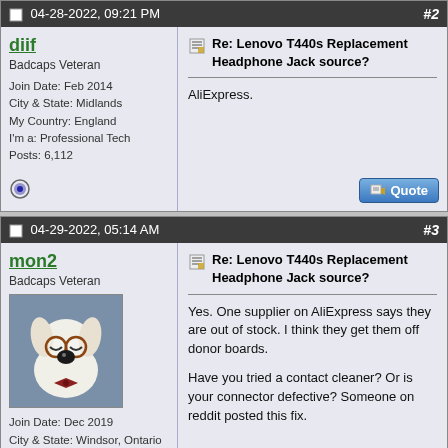04-28-2022, 09:21 PM  #2
diif
Badcaps Veteran
Join Date: Feb 2014
City & State: Midlands
My Country: England
I'm a: Professional Tech
Posts: 6,112
Re: Lenovo T440s Replacement Headphone Jack source?
AliExpress.
04-29-2022, 05:14 AM  #3
mon2
Badcaps Veteran
Join Date: Dec 2019
City & State: Windsor, Ontario
My Country: Canada
Line Voltage: 110VAC
I'm a: Knowledge Seeker
Posts: 4,220
Re: Lenovo T440s Replacement Headphone Jack source?
Yes. One supplier on AliExpress says they are out of stock. I think they get them off donor boards.

Have you tried a contact cleaner? Or is your connector defective? Someone on reddit posted this fix.